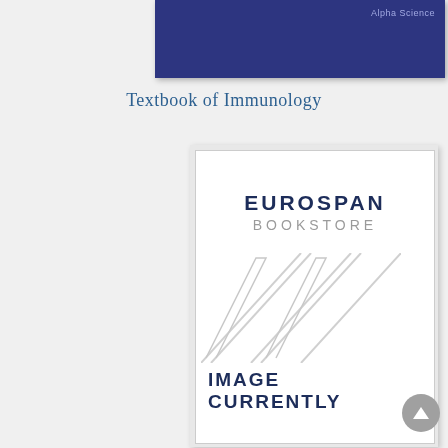[Figure (other): Top portion of a dark navy blue book cover with 'Alpha Science' text in the upper right corner]
Textbook of Immunology
[Figure (logo): Eurospan Bookstore placeholder image with logo text 'EUROSPAN BOOKSTORE', decorative diagonal lines, and text 'IMAGE CURRENTLY' at the bottom, inside a white bordered box]